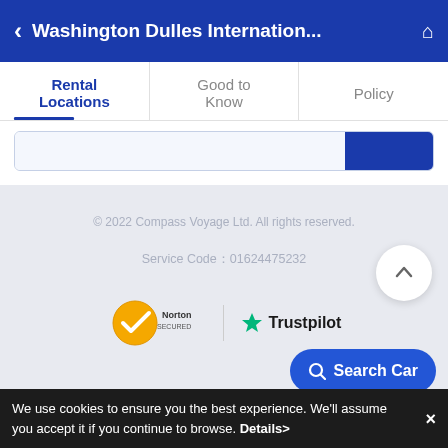Washington Dulles Internation...
Rental Locations | Good to Know | Policy
[Figure (screenshot): Search bar with blue button on white background]
© 2022 Compass Voyage Ltd. All rights reserved.
Service Code：01624475232
[Figure (logo): Norton Secured logo and Trustpilot logo]
Search Car
We use cookies to ensure you the best experience. We'll assume you accept it if you continue to browse. Details>